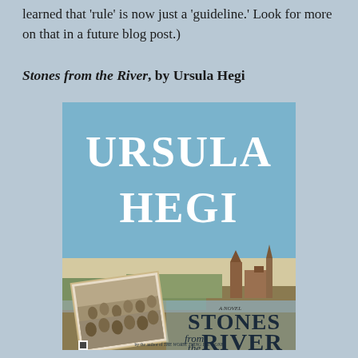learned that 'rule' is now just a 'guideline.' Look for more on that in a future blog post.)
Stones from the River, by Ursula Hegi
[Figure (illustration): Book cover of 'Stones from the River' by Ursula Hegi. Light blue background with large white serif text 'URSULA HEGI' at the top. Below is a landscape painting of a European town. In the lower left, an old black-and-white photograph of a crowd. The title 'STONES from the RIVER' appears in large dark serif text on the lower right portion. Subtitle text reads 'a novel' and 'by the author of THE WORST THING I'VE DONE'.]